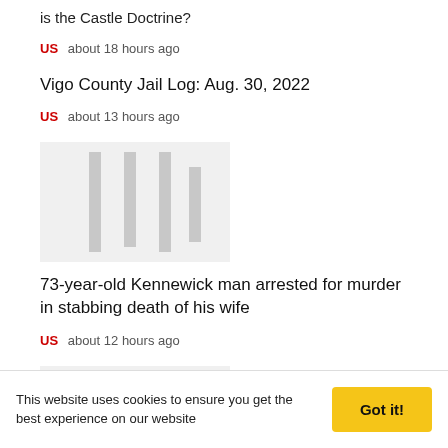is the Castle Doctrine?
US   about 18 hours ago
Vigo County Jail Log: Aug. 30, 2022
US   about 13 hours ago
[Figure (photo): Placeholder image with vertical gray bars]
73-year-old Kennewick man arrested for murder in stabbing death of his wife
US   about 12 hours ago
[Figure (photo): Placeholder image with vertical gray bars]
This website uses cookies to ensure you get the best experience on our website